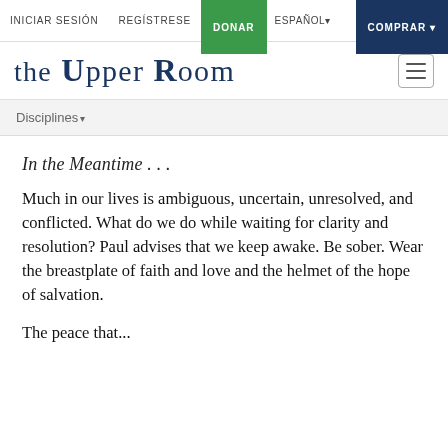INICIAR SESIÓN  REGÍSTRESE  DONAR  ESPAÑOL  COMPRAR
THE UPPER ROOM
Disciplines
In the Meantime . . .
Much in our lives is ambiguous, uncertain, unresolved, and conflicted. What do we do while waiting for clarity and resolution? Paul advises that we keep awake. Be sober. Wear the breastplate of faith and love and the helmet of the hope of salvation.

The peace that...